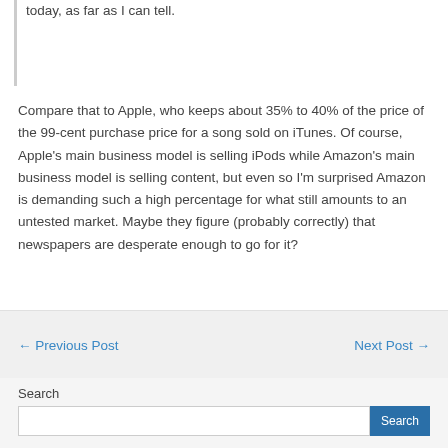today, as far as I can tell.
Compare that to Apple, who keeps about 35% to 40% of the price of the 99-cent purchase price for a song sold on iTunes. Of course, Apple's main business model is selling iPods while Amazon’s main business model is selling content, but even so I’m surprised Amazon is demanding such a high percentage for what still amounts to an untested market. Maybe they figure (probably correctly) that newspapers are desperate enough to go for it?
← Previous Post
Next Post →
Search